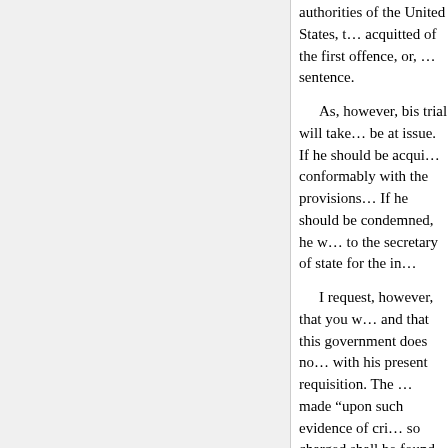authorities of the United States, t… acquitted of the first offence, or, … sentence.
As, however, bis trial will take… be at issue. If he should be acqui… conformably with the provisions… If he should be condemned, he w… to the secretary of state for the in…
I request, however, that you w… and that this government does no… with his present requisition. The … made “upon such evidence of cri… so charged shall be found, would… had there been committed;” that … the person charged is to be broug… may be heard and considered,” a… hearing, “the evidence be deeme… or magistrate.”
It will be necessary, therefore, … nature and circumstances of the a… commission of the said crimes, a…
« Previous